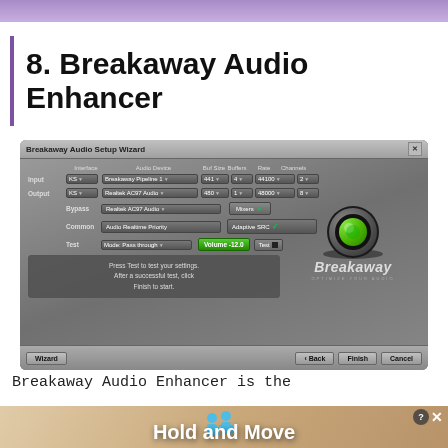8. Breakaway Audio Enhancer
[Figure (screenshot): Breakaway Audio Setup Wizard dialog showing Input/Output interface settings with KS dropdown, Breakaway Pipeline device, buffer size, rate, channels configuration. Test section with Volume -12.0 and Test button. Breakaway logo with green knob graphic on right side. Wizard/Back/Finish/Cancel buttons at bottom.]
Breakaway Audio Enhancer is the
[Figure (screenshot): Advertisement banner showing 'Hold and Move' text with blue figure icons on a wooden background, with close buttons in top right corner.]